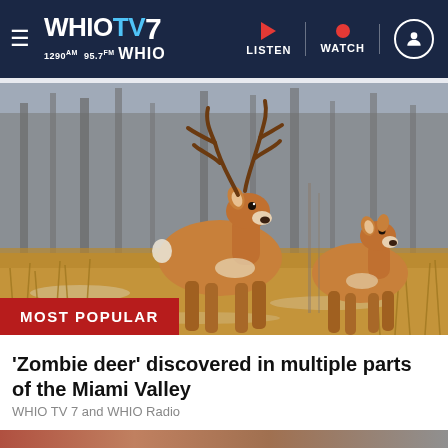WHIOTV7 1290AM 95.7FM WHIO — LISTEN | WATCH
[Figure (photo): Two white-tailed deer (a buck with antlers and a doe) standing in a winter field with dried grass and bare trees in the background. Red banner at bottom left reads 'MOST POPULAR'.]
'Zombie deer' discovered in multiple parts of the Miami Valley
WHIO TV 7 and WHIO Radio